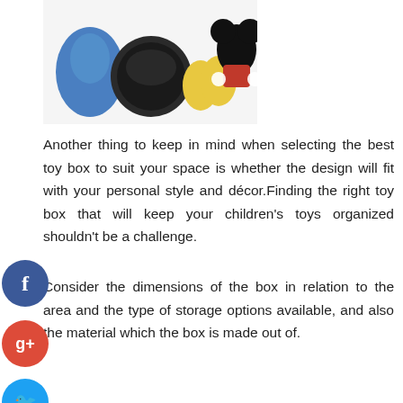[Figure (photo): Photo of Mickey Mouse themed toy eggs and merchandise items including blue egg, black round tin, and yellow eggs with a Mickey Mouse plush figure]
Another thing to keep in mind when selecting the best toy box to suit your space is whether the design will fit with your personal style and décor.Finding the right toy box that will keep your children's toys organized shouldn't be a challenge.
Consider the dimensions of the box in relation to the area and the type of storage options available, and also the material which the box is made out of.
Toy boxes come in a different range of styles and sizes. Toy boxes that are small can be used to store smaller toys. Smaller toys are generally designed for furniture which can be a